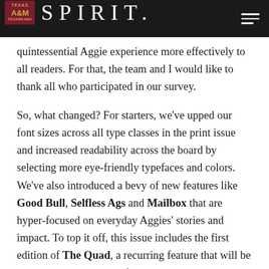TEXAS A&M TEXARKANA | SPIRIT
quintessential Aggie experience more effectively to all readers. For that, the team and I would like to thank all who participated in our survey.
So, what changed? For starters, we've upped our font sizes across all type classes in the print issue and increased readability across the board by selecting more eye-friendly typefaces and colors. We've also introduced a bevy of new features like Good Bull, Selfless Ags and Mailbox that are hyper-focused on everyday Aggies' stories and impact. To top it off, this issue includes the first edition of The Quad, a recurring feature that will be dedicated to the Corps of